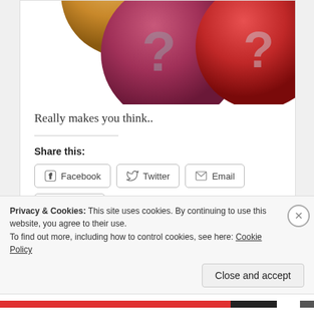[Figure (photo): Three colorful spherical balls with question marks on them — one dark gold/orange (partially visible, top left), one dark pink/maroon (center), and one red (right). The balls appear 3D rendered.]
Really makes you think..
Share this:
Facebook  Twitter  Email  LinkedIn  Pinterest
Loading...
Privacy & Cookies: This site uses cookies. By continuing to use this website, you agree to their use.
To find out more, including how to control cookies, see here: Cookie Policy
Close and accept